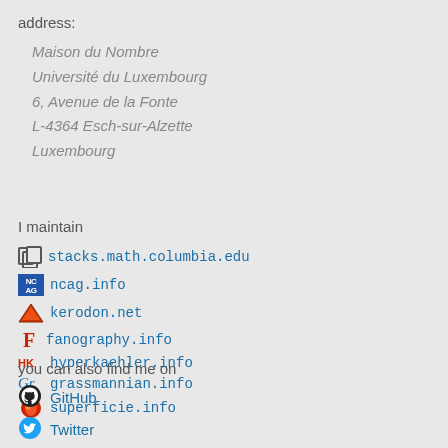address:
Maison du Nombre
Université du Luxembourg
6, Avenue de la Fonte
L-4364 Esch-sur-Alzette
Luxembourg
I maintain
stacks.math.columbia.edu
ncag.info
kerodon.net
fanography.info
hyperkaehler.info
grassmannian.info
superficie.info
you can also find me on
GitHub
Twitter
MathOverflow
ORCID